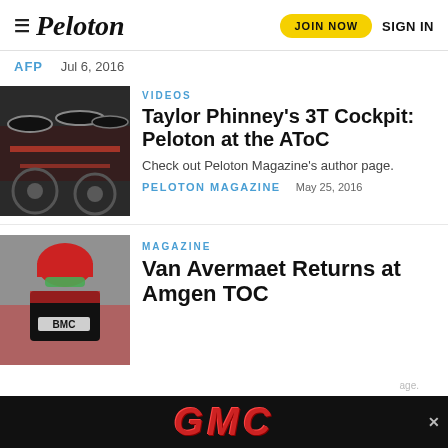Peloton — JOIN NOW  SIGN IN
AFP   Jul 6, 2016
[Figure (photo): Close-up of racing bicycle handlebars and wheels, red and black color scheme]
VIDEOS
Taylor Phinney's 3T Cockpit: Peloton at the AToC
Check out Peloton Magazine's author page.
PELOTON MAGAZINE   May 25, 2016
[Figure (photo): Cyclist wearing BMC team kit and helmet with sunglasses]
MAGAZINE
Van Avermaet Returns at Amgen TOC
[Figure (photo): GMC advertisement banner — black background with red GMC logo text]